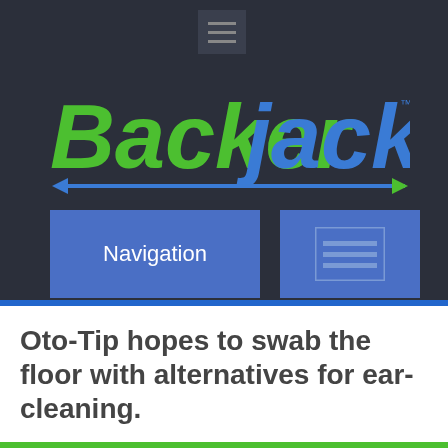[Figure (logo): BackerJack logo with 'Backer' in green italic bold and 'jack' in blue italic bold, with blue underline arrow decoration]
Navigation
Oto-Tip hopes to swab the floor with alternatives for ear-cleaning.